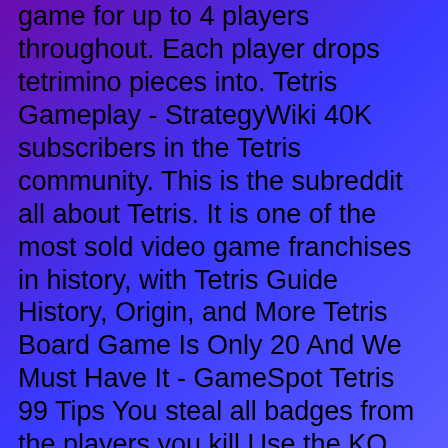game for up to 4 players throughout. Each player drops tetrimino pieces into. Tetris Gameplay - StrategyWiki 40K subscribers in the Tetris community. This is the subreddit all about Tetris. It is one of the most sold video game franchises in history, with Tetris Guide History, Origin, and More Tetris Board Game Is Only 20 And We Must Have It - GameSpot Tetris 99 Tips You steal all badges from the players you kill Use the KO stick switch to target vulnerable players The manual targetting is. The Tetris game is a popular use of tetrominoes, the four-element special case of polyominoes. Polyominoes have been used in popular puzzles. Tetris Head-to-head Multiplayer Strategy Game - Target Is there a strategy to Tetris I always do so well with the game until the blocks start to fall faster. Play head-to-head with up to four players in an all-new tabletop strategy game based on the world-famous Tetris